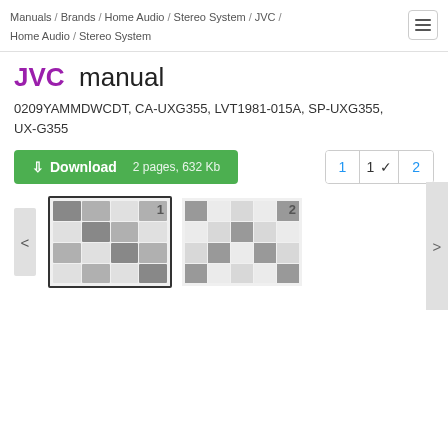Manuals / Brands / Home Audio / Stereo System / JVC / Home Audio / Stereo System
JVC manual
0209YAMMDWCDT, CA-UXG355, LVT1981-015A, SP-UXG355, UX-G355
Download 2 pages, 632 Kb
[Figure (screenshot): Two thumbnail images of manual pages labeled 1 and 2, with left and right navigation arrows.]